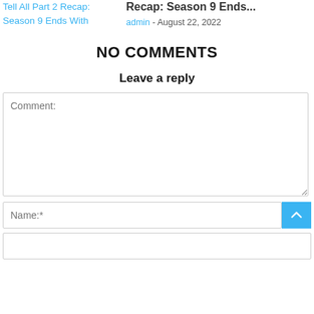Tell All Part 2 Recap: Season 9 Ends With
Recap: Season 9 Ends...
admin - August 22, 2022
NO COMMENTS
Leave a reply
Comment:
Name:*